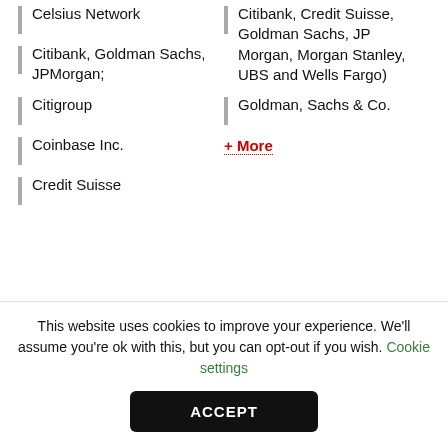Celsius Network
Citibank, Goldman Sachs, JPMorgan;
Citigroup
Coinbase Inc.
Credit Suisse
Citibank, Credit Suisse, Goldman Sachs, JP Morgan, Morgan Stanley, UBS and Wells Fargo)
Goldman, Sachs & Co.
+ More
Work highlights
Advised GCM Grosvenor on regulatory matters in connection with it's $2 billion merger with CF Finance Acquisition Corp., a special purpose
This website uses cookies to improve your experience. We'll assume you're ok with this, but you can opt-out if you wish. Cookie settings
ACCEPT